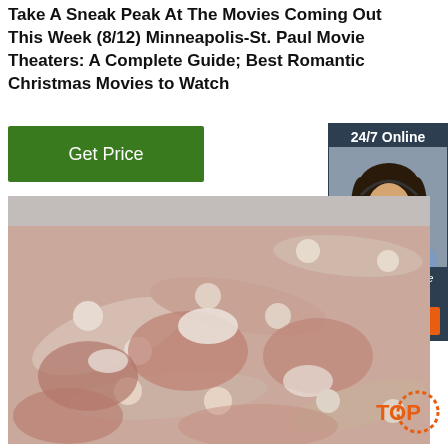Take A Sneak Peak At The Movies Coming Out This Week (8/12) Minneapolis-St. Paul Movie Theaters: A Complete Guide; Best Romantic Christmas Movies to Watch
[Figure (other): Green 'Get Price' button]
[Figure (other): 24/7 Online chat widget sidebar with photo of woman with headset, 'Click here for free chat!' text, and orange QUOTATION button]
[Figure (photo): Photo of raw frozen meat bones/ribs in a pile]
[Figure (logo): TOP logo with orange dotted circle graphic in bottom-right corner]